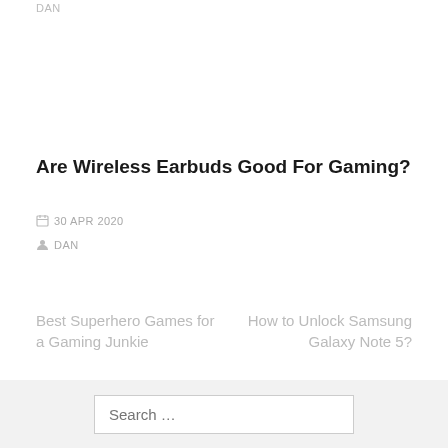Are Wireless Earbuds Good For Gaming?
30 APR 2020
DAN
Best Superhero Games for a Gaming Junkie
How to Unlock Samsung Galaxy Note 5?
Search …